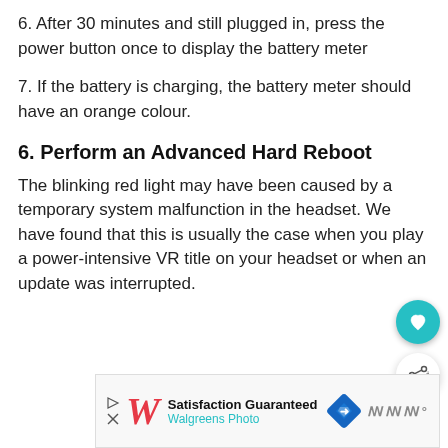6. After 30 minutes and still plugged in, press the power button once to display the battery meter
7. If the battery is charging, the battery meter should have an orange colour.
6. Perform an Advanced Hard Reboot
The blinking red light may have been caused by a temporary system malfunction in the headset. We have found that this is usually the case when you play a power-intensive VR title on your headset or when an update was interrupted.
[Figure (other): Advertisement banner for Walgreens Photo with Satisfaction Guaranteed text]